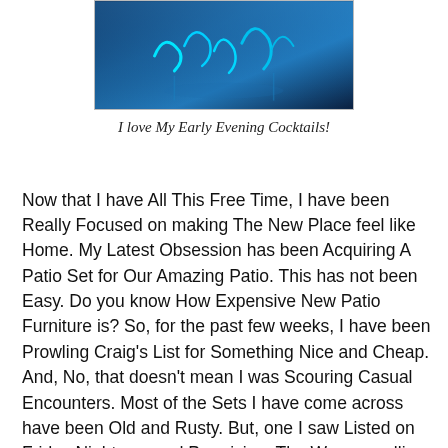[Figure (photo): A photo showing cocktails or drinks with a blue/teal background, possibly a night scene or cocktail glass image.]
I love My Early Evening Cocktails!
Now that I have All This Free Time, I have been Really Focused on making The New Place feel like Home. My Latest Obsession has been Acquiring A Patio Set for Our Amazing Patio. This has not been Easy. Do you know How Expensive New Patio Furniture is? So, for the past few weeks, I have been Prowling Craig's List for Something Nice and Cheap. And, No, that doesn't mean I was Scouring Casual Encounters. Most of the Sets I have come across have been Old and Rusty. But, one I saw Listed on Friday Night seemed Promising. The Woman selling The Set phoned me Saturday Morning, so Totally Awesome Boyfriend took A Ride To The Other Side Of Town to go look at The Advertised Set. What A Freaking Disappointment! The Woman had mentioned in Her Ad that The Set was Weathered, but she neglected to add that A Chair Was Broken and The Set Had Never Been Sealed and The Wood